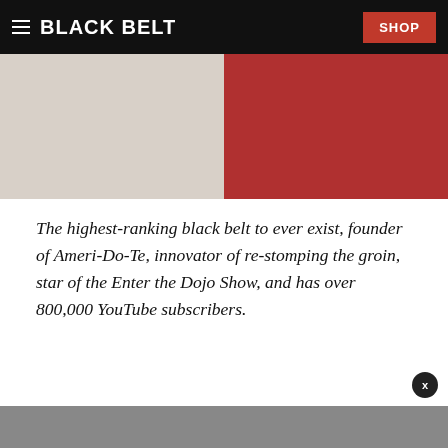BLACK BELT
[Figure (photo): Two martial artists in gi uniforms — one in white, one in red/pink — photographed from the torso up, cropped at the neck.]
The highest-ranking black belt to ever exist, founder of Ameri-Do-Te, innovator of re-stomping the groin, star of the Enter the Dojo Show, and has over 800,000 YouTube subscribers.